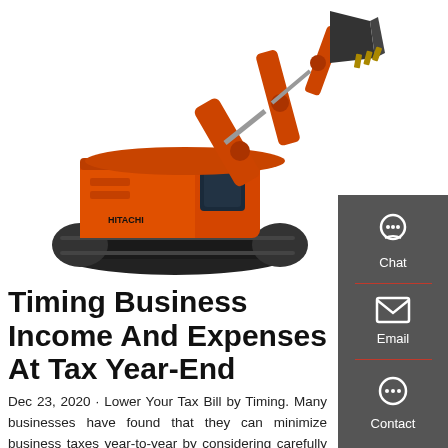[Figure (photo): Orange construction excavator/digger on white background, arm raised with bucket at upper right]
Timing Business Income And Expenses At Tax Year-End
Dec 23, 2020 · Lower Your Tax Bill by Timing. Many businesses have found that they can minimize business taxes year-to-year by considering carefully when to make payments to increase expenses and